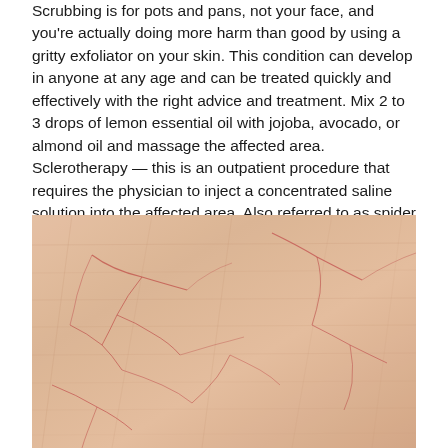Scrubbing is for pots and pans, not your face, and you're actually doing more harm than good by using a gritty exfoliator on your skin. This condition can develop in anyone at any age and can be treated quickly and effectively with the right advice and treatment. Mix 2 to 3 drops of lemon essential oil with jojoba, avocado, or almond oil and massage the affected area. Sclerotherapy — this is an outpatient procedure that requires the physician to inject a concentrated saline solution into the affected area. Also referred to as spider veins, thread veins are commonly found on the face and legs but they can appear anywhere on the body. Impact of smoking and alcohol use on facial aging in women:
[Figure (photo): Close-up photograph of skin showing thread veins / spider veins — reddish-pink branching capillary lines visible beneath the surface of pale skin with fine texture lines.]